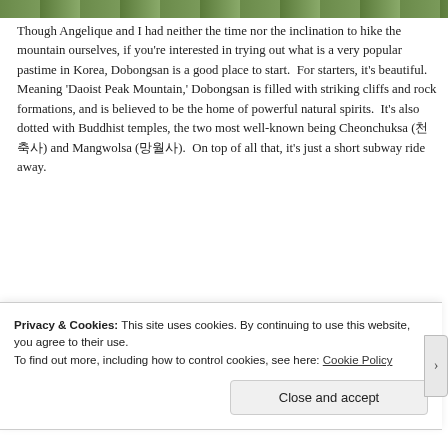[Figure (photo): Top partial image showing green grass/nature scene, cropped at top of page]
Though Angelique and I had neither the time nor the inclination to hike the mountain ourselves, if you're interested in trying out what is a very popular pastime in Korea, Dobongsan is a good place to start.  For starters, it's beautiful.  Meaning 'Daoist Peak Mountain,' Dobongsan is filled with striking cliffs and rock formations, and is believed to be the home of powerful natural spirits.  It's also dotted with Buddhist temples, the two most well-known being Cheonchuksa (천축사) and Mangwolsa (망월사).  On top of all that, it's just a short subway ride away.
[Figure (photo): Partial bottom photo showing blurred figures, likely people at Dobongsan]
Privacy & Cookies: This site uses cookies. By continuing to use this website, you agree to their use.
To find out more, including how to control cookies, see here: Cookie Policy
Close and accept